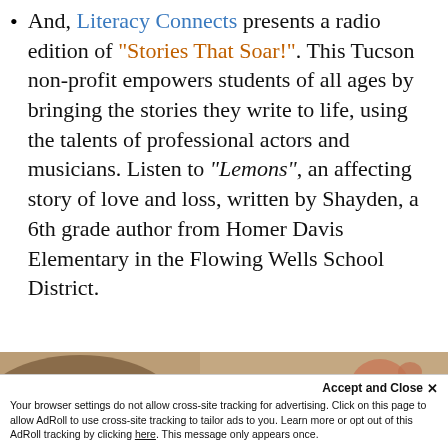And, Literacy Connects presents a radio edition of "Stories That Soar!". This Tucson non-profit empowers students of all ages by bringing the stories they write to life, using the talents of professional actors and musicians. Listen to "Lemons", an affecting story of love and loss, written by Shayden, a 6th grade author from Homer Davis Elementary in the Flowing Wells School District.
[Figure (photo): Partial photo strip showing animals (cats) partially visible at bottom of page]
Accept and Close ✕
Your browser settings do not allow cross-site tracking for advertising. Click on this page to allow AdRoll to use cross-site tracking to tailor ads to you. Learn more or opt out of this AdRoll tracking by clicking here. This message only appears once.